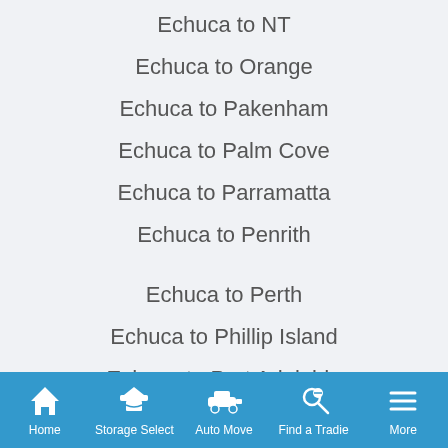Echuca to NT
Echuca to Orange
Echuca to Pakenham
Echuca to Palm Cove
Echuca to Parramatta
Echuca to Penrith
Echuca to Perth
Echuca to Phillip Island
Echuca to Port Adelaide
Echuca to Port Douglas
Home  Storage Select  Auto Move  Find a Tradie  More